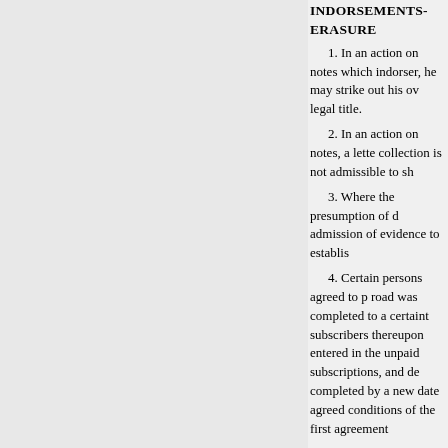INDORSEMENTS- ERASURE
1. In an action on notes which indorser, he may strike out his ow legal title.
2. In an action on notes, a lette collection is not admissible to sh
3. Where the presumption of d admission of evidence to establis
4. Certain persons agreed to p road was completed to a certaint subscribers thereupon entered in the unpaid subscriptions, and de completed by a new date agreed conditions of the first agreement
5. Where a note is introduced made by the manager is waived
Appeal from circuit court, Co
Action by J. D. Spreckels & B plaintiff, defendant appeals. Affi
This is an action to recover on th Coos Bay, Roseburg & Eastern R